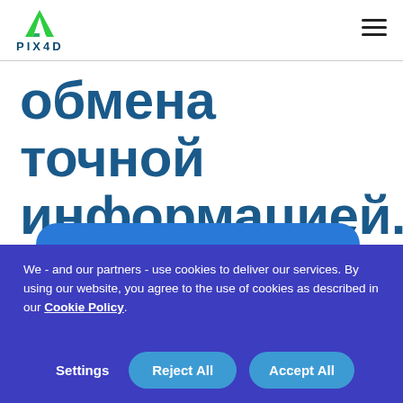PIX4D
обмена точной информацией.
We - and our partners - use cookies to deliver our services. By using our website, you agree to the use of cookies as described in our Cookie Policy.
Settings
Reject All
Accept All